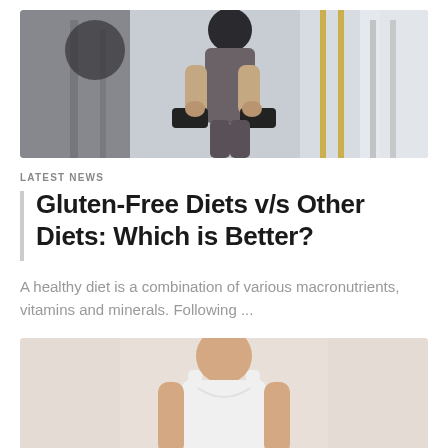[Figure (photo): Woman in gym holding dumbbells, wearing grey workout clothes, gym equipment in background]
LATEST NEWS
Gluten-Free Diets v/s Other Diets: Which is Better?
A healthy diet is a combination of various macronutrients, vitamins and minerals. Following ...
[Figure (photo): Woman in white tank top, fitness/health related image, light background]